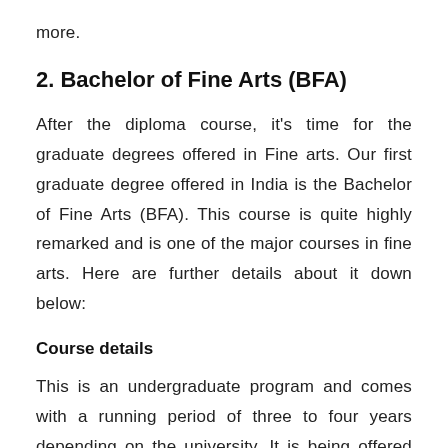more.
2. Bachelor of Fine Arts (BFA)
After the diploma course, it's time for the graduate degrees offered in Fine arts. Our first graduate degree offered in India is the Bachelor of Fine Arts (BFA). This course is quite highly remarked and is one of the major courses in fine arts. Here are further details about it down below:
Course details
This is an undergraduate program and comes with a running period of three to four years depending on the university. It is being offered by plenty of universities across India. The course focuses on